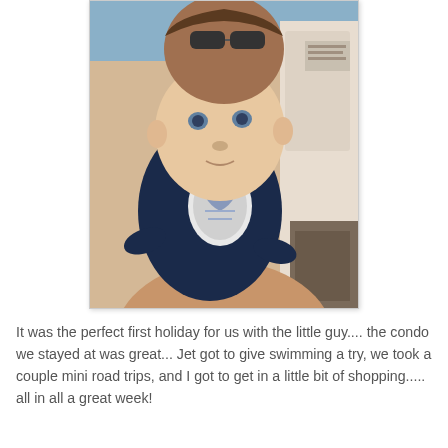[Figure (photo): A baby wearing a dark navy blue onesie with a logo patch, being held by a person wearing sunglasses, outdoors with a beige wall and chair in background.]
It was the perfect first holiday for us with the little guy.... the condo we stayed at was great... Jet got to give swimming a try, we took a couple mini road trips, and I got to get in a little bit of shopping..... all in all a great week!
[Figure (photo): A baby wearing a knit hat being held, indoors with white cabinetry visible in background.]